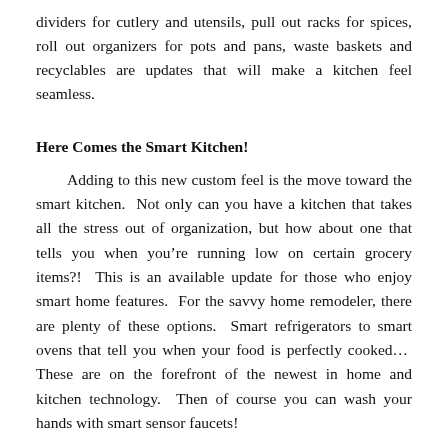dividers for cutlery and utensils, pull out racks for spices, roll out organizers for pots and pans, waste baskets and recyclables are updates that will make a kitchen feel seamless.
Here Comes the Smart Kitchen!
Adding to this new custom feel is the move toward the smart kitchen.  Not only can you have a kitchen that takes all the stress out of organization, but how about one that tells you when you're running low on certain grocery items?!  This is an available update for those who enjoy smart home features.  For the savvy home remodeler, there are plenty of these options.  Smart refrigerators to smart ovens that tell you when your food is perfectly cooked…  These are on the forefront of the newest in home and kitchen technology.  Then of course you can wash your hands with smart sensor faucets!